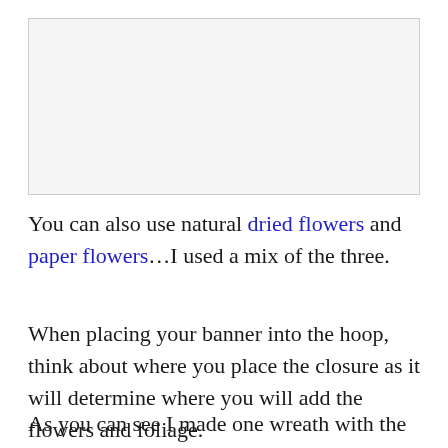[Figure (photo): Placeholder image area at top of page]
You can also use natural dried flowers and paper flowers…I used a mix of the three.
When placing your banner into the hoop, think about where you place the closure as it will determine where you will add the flowers and foliage.
As you can see I made one wreath with the